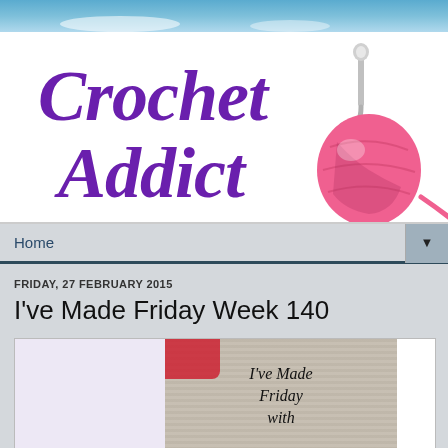[Figure (logo): Crochet Addict blog logo: large purple italic script text 'Crochet Addict' with a pink yarn ball and crochet hook illustration to the right, on white background]
Home ▼
FRIDAY, 27 FEBRUARY 2015
I've Made Friday Week 140
[Figure (photo): Photo of a white knitted/crocheted fabric with text overlay reading "I've Made Friday with" and what appears to be red yarn or fabric item in the upper left corner]